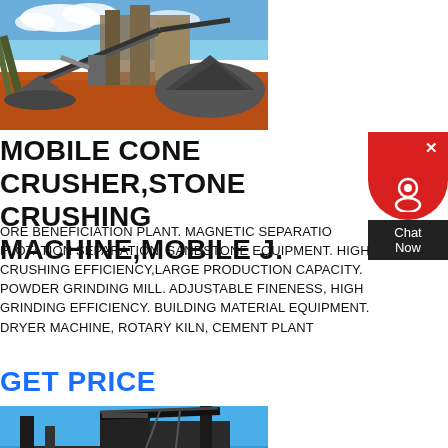[Figure (photo): Outdoor mining/quarry site with conveyor belts, industrial equipment, large piles of crushed stone/aggregate on red-orange earth under a partly cloudy blue sky.]
MOBILE CONE CRUSHER,STONE CRUSHING MACHINE,MOBILE J.
ORE BENEFICIATION PLANT. MAGNETIC SEPARATION. FLOTATION SEPARATION. SANDSTONE EQUIPMENT. HIGH CRUSHING EFFICIENCY,LARGE PRODUCTION CAPACITY. POWDER GRINDING MILL. ADJUSTABLE FINENESS, HIGH GRINDING EFFICIENCY. BUILDING MATERIAL EQUIPMENT. DRYER MACHINE, ROTARY KILN, CEMENT PLANT
GET PRICE
[Figure (photo): Industrial machinery/equipment photographed against a bright blue sky, showing large metal structures and crane-like components of a crushing or processing plant.]